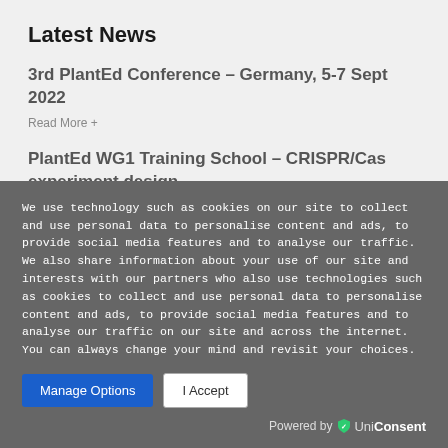Latest News
3rd PlantEd Conference – Germany, 5-7 Sept 2022
Read More +
PlantEd WG1 Training School – CRISPR/Cas experiment design
We use technology such as cookies on our site to collect and use personal data to personalise content and ads, to provide social media features and to analyse our traffic. We also share information about your use of our site and interests with our partners who also use technologies such as cookies to collect and use personal data to personalise content and ads, to provide social media features and to analyse our traffic on our site and across the internet. You can always change your mind and revisit your choices.
Manage Options | I Accept
Powered by UniConsent